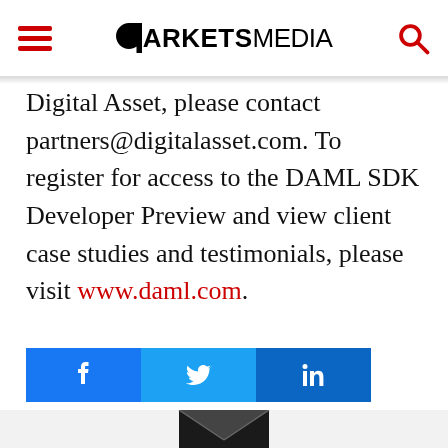MARKETS MEDIA
Digital Asset, please contact partners@digitalasset.com. To register for access to the DAML SDK Developer Preview and view client case studies and testimonials, please visit www.daml.com.
[Figure (other): Social share buttons: Facebook, Twitter, LinkedIn]
[Figure (other): Bottom grey section with envelope/email icon partially visible]